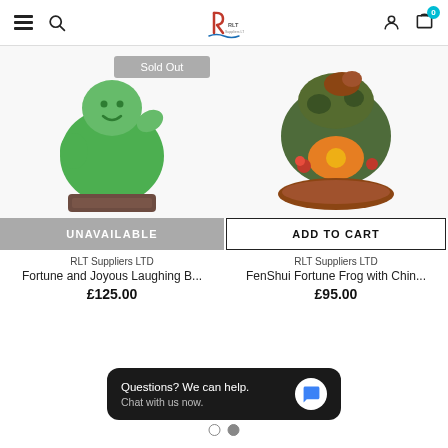RLT Suppliers LTD - Navigation header with hamburger menu, search, logo, user and cart icons
[Figure (photo): Green jade laughing Buddha figurine on ornate wooden base with 'Sold Out' badge and UNAVAILABLE button]
RLT Suppliers LTD
Fortune and Joyous Laughing B...
£125.00
[Figure (photo): FenShui Fortune Frog figurine with Chinese coins on ornate wooden base with ADD TO CART button]
RLT Suppliers LTD
FenShui Fortune Frog with Chin...
£95.00
Questions? We can help.
Chat with us now.